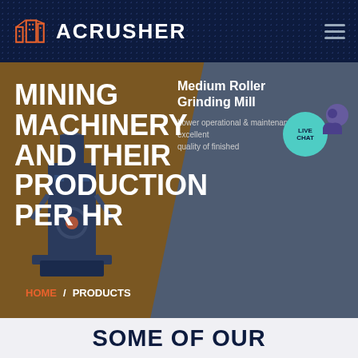[Figure (screenshot): ACRUSHER website navbar with dark navy background, orange building logo icon, white ACRUSHER brand text, and hamburger menu icon on the right]
MINING MACHINERY AND THEIR PRODUCTION PER HR
[Figure (screenshot): Hero banner section with brown and slate backgrounds, mining machinery image (vertical roller mill), product panel showing 'Medium Roller Grinding Mill' with description text, and live chat teal bubble]
Medium Roller Grinding Mill
Lower operational & maintenance costs, excellent quality of finished
HOME / PRODUCTS
SOME OF OUR